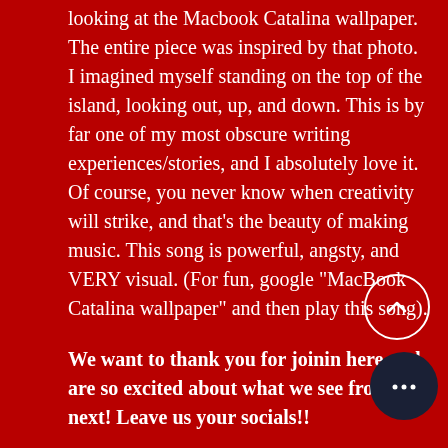looking at the Macbook Catalina wallpaper. The entire piece was inspired by that photo. I imagined myself standing on the top of the island, looking out, up, and down. This is by far one of my most obscure writing experiences/stories, and I absolutely love it. Of course, you never know when creativity will strike, and that's the beauty of making music. This song is powerful, angsty, and VERY visual. (For fun, google "MacBook Catalina wallpaper" and then play this song).
We want to thank you for joining here and are so excited about what we see from you next! Leave us your socials!!